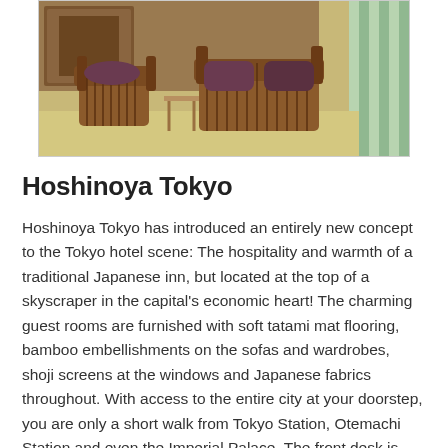[Figure (photo): Interior photo of Hoshinoya Tokyo hotel room showing stylish Japanese-design furniture including bamboo-framed sofas and chairs with cushions on tatami-style flooring]
Hoshinoya Tokyo
Hoshinoya Tokyo has introduced an entirely new concept to the Tokyo hotel scene: The hospitality and warmth of a traditional Japanese inn, but located at the top of a skyscraper in the capital's economic heart! The charming guest rooms are furnished with soft tatami mat flooring, bamboo embellishments on the sofas and wardrobes, shoji screens at the windows and Japanese fabrics throughout. With access to the entire city at your doorstep, you are only a short walk from Tokyo Station, Otemachi Station and even the Imperial Palace. The front desk is open 24 hours, so any request you have, day or night, may be engaged.